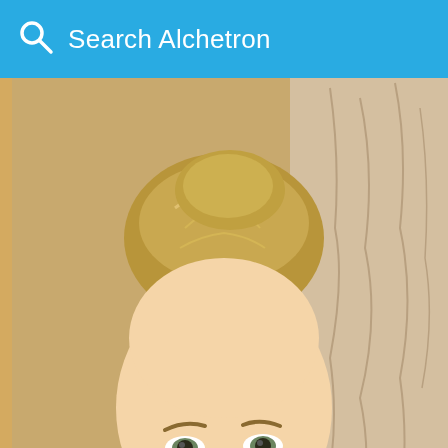Search Alchetron
[Figure (photo): Close-up photo of Ayla Kell, a young woman with blonde hair in an updo, wearing hoop earrings, against a textured golden/tan background. Her name 'Ayla Kell' appears in white italic bold text on a semi-transparent dark overlay at the bottom of the photo.]
Ayla Kell
[Figure (photo): Advertisement banner for Bloomingdales showing a woman in a wide-brim hat. Text reads 'bloomingdales View Today's Top Deals!' with a 'SHOP NOW >' button and 'id-19' badge in red.]
bloomingdales View Today's Top Deals! SHOP NOW > id-19